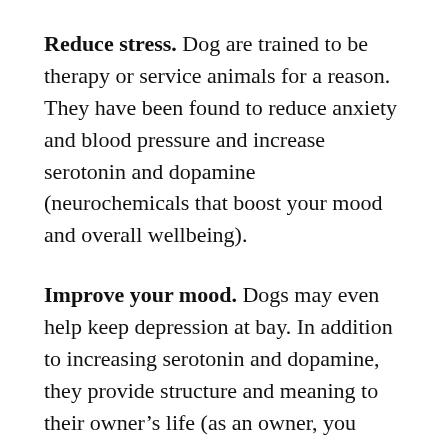Reduce stress. Dog are trained to be therapy or service animals for a reason. They have been found to reduce anxiety and blood pressure and increase serotonin and dopamine (neurochemicals that boost your mood and overall wellbeing).
Improve your mood. Dogs may even help keep depression at bay. In addition to increasing serotonin and dopamine, they provide structure and meaning to their owner's life (as an owner, you must get up in the morning to walk or let your dog out), encourage socialization and prevent isolation and loneliness. For some, having the structure and companionship of a pooch can help protect